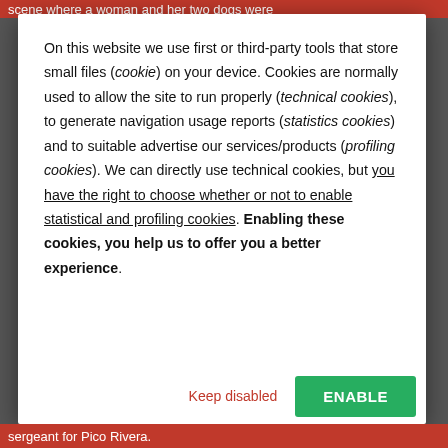scene where a woman and her two dogs were
On this website we use first or third-party tools that store small files (cookie) on your device. Cookies are normally used to allow the site to run properly (technical cookies), to generate navigation usage reports (statistics cookies) and to suitable advertise our services/products (profiling cookies). We can directly use technical cookies, but you have the right to choose whether or not to enable statistical and profiling cookies. Enabling these cookies, you help us to offer you a better experience.
Keep disabled
ENABLE
sergeant for Pico Rivera.